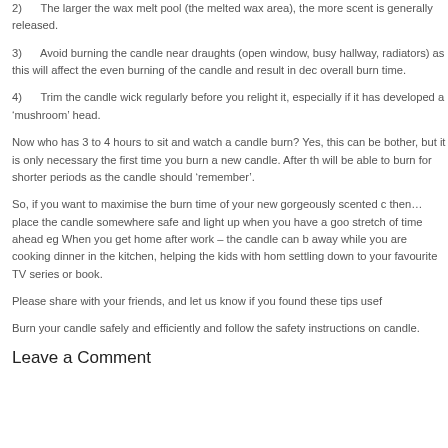2)	The larger the wax melt pool (the melted wax area), the more scent is generally released.
3)	Avoid burning the candle near draughts (open window, busy hallway, radiators) as this will affect the even burning of the candle and result in dec overall burn time.
4)	Trim the candle wick regularly before you relight it, especially if it has developed a ‘mushroom’ head.
Now who has 3 to 4 hours to sit and watch a candle burn? Yes, this can be bother, but it is only necessary the first time you burn a new candle. After th will be able to burn for shorter periods as the candle should ‘remember’.
So, if you want to maximise the burn time of your new gorgeously scented c then… place the candle somewhere safe and light up when you have a goo stretch of time ahead eg When you get home after work – the candle can b away while you are cooking dinner in the kitchen, helping the kids with hom settling down to your favourite TV series or book.
Please share with your friends, and let us know if you found these tips usef
Burn your candle safely and efficiently and follow the safety instructions on candle.
Leave a Comment